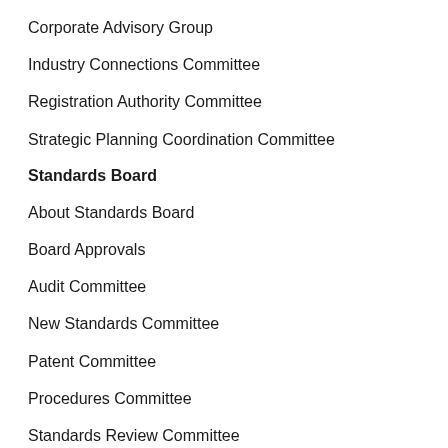Corporate Advisory Group
Industry Connections Committee
Registration Authority Committee
Strategic Planning Coordination Committee
Standards Board
About Standards Board
Board Approvals
Audit Committee
New Standards Committee
Patent Committee
Procedures Committee
Standards Review Committee